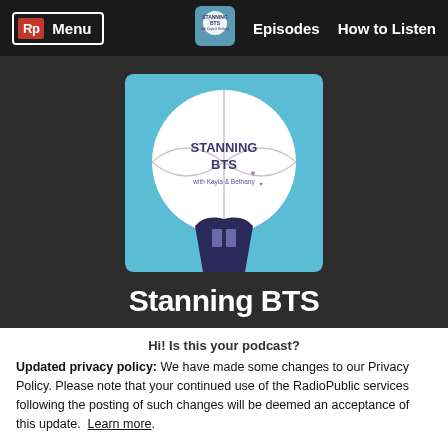Rp Menu | Episodes | How to Listen
[Figure (illustration): Podcast artwork for Stanning BTS — a circular basketball-like globe with text 'STANNING BTS with Kayla & Bethany' on a teal/blue background with BTS logo at bottom]
Stanning BTS
195 Episodes | Produced by Consequence Podcast Network | Website
Hi! Is this your podcast?
Updated privacy policy: We have made some changes to our Privacy Policy. Please note that your continued use of the RadioPublic services following the posting of such changes will be deemed an acceptance of this update. Learn more.